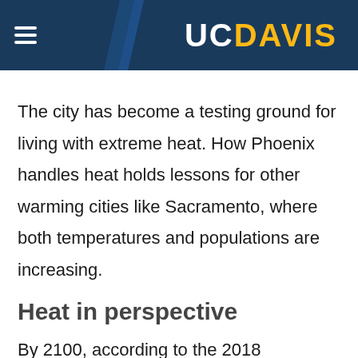UC DAVIS
The city has become a testing ground for living with extreme heat. How Phoenix handles heat holds lessons for other warming cities like Sacramento, where both temperatures and populations are increasing.
Heat in perspective
By 2100, according to the 2018 Sacramento Valley Climate Change Assessment, the number of days that